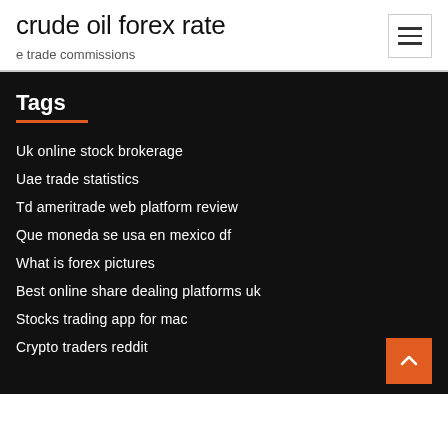crude oil forex rate
e trade commissions
Tags
Uk online stock brokerage
Uae trade statistics
Td ameritrade web platform review
Que moneda se usa en mexico df
What is forex pictures
Best online share dealing platforms uk
Stocks trading app for mac
Crypto traders reddit